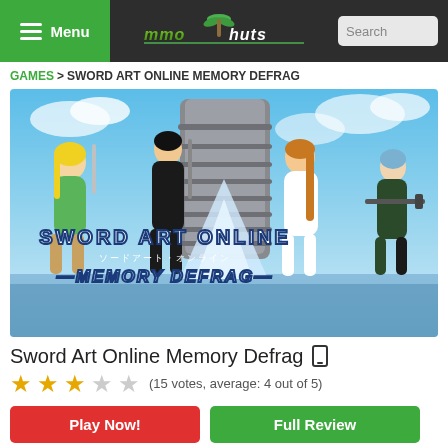Menu | MMOHuts | Search
GAMES > SWORD ART ONLINE MEMORY DEFRAG
[Figure (illustration): Sword Art Online Memory Defrag game promotional artwork showing anime characters (Leafa, Kirito, Asuna, Sinon) with the game logo against a sky background]
Sword Art Online Memory Defrag
(15 votes, average: 4 out of 5)
Play Now! | Full Review